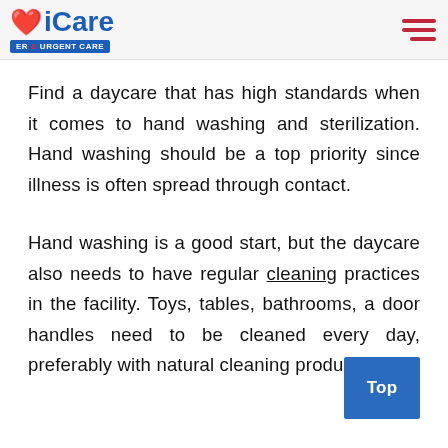iCare ER & URGENT CARE
Find a daycare that has high standards when it comes to hand washing and sterilization. Hand washing should be a top priority since illness is often spread through contact.
Hand washing is a good start, but the daycare also needs to have regular cleaning practices in the facility. Toys, tables, bathrooms, a door handles need to be cleaned every day, preferably with natural cleaning products